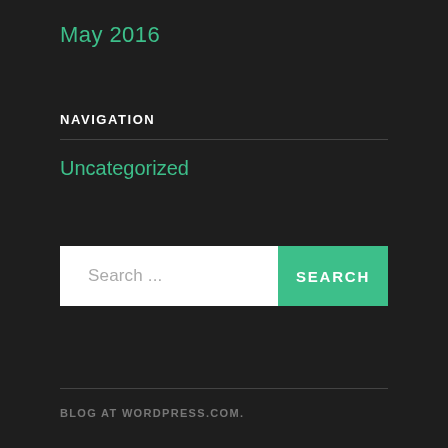May 2016
NAVIGATION
Uncategorized
[Figure (screenshot): Search bar with white input field showing placeholder text 'Search ...' and a teal 'SEARCH' button on the right]
BLOG AT WORDPRESS.COM.